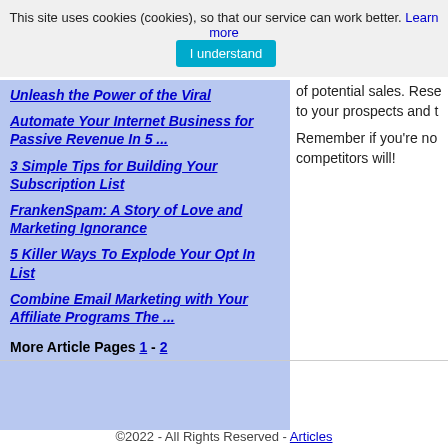This site uses cookies (cookies), so that our service can work better. Learn more  I understand
Unleash the Power of the Viral
Automate Your Internet Business for Passive Revenue In 5 ...
3 Simple Tips for Building Your Subscription List
FrankenSpam: A Story of Love and Marketing Ignorance
5 Killer Ways To Explode Your Opt In List
Combine Email Marketing with Your Affiliate Programs The ...
More Article Pages 1 - 2
of potential sales. Rese... to your prospects and t...
Remember if you're no... competitors will!
©2022 - All Rights Reserved - Articles